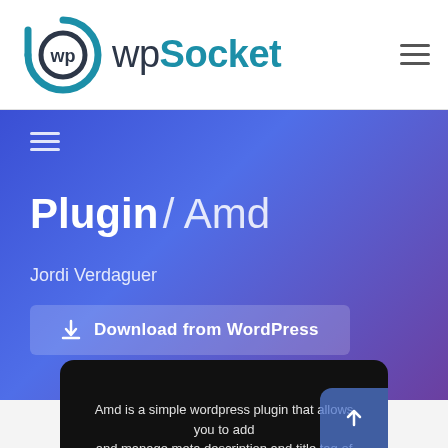WPSocket
Plugin / Amd
Jordi Verdaguer
Download from WordPress
Amd is a simple wordpress plugin that allows you to add and manage meta description and title tag of your posts